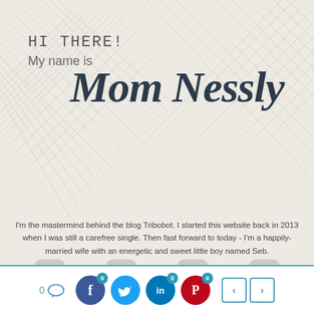[Figure (illustration): Decorative crosshatch/plaid diagonal lines pattern in grey on a beige background, used as a background design element in the upper portion of the page.]
HI THERE!
My name is
Mom Nessly
I'm the mastermind behind the blog Tribobot. I started this website back in 2013 when I was still a carefree single. Then fast forward to today - I'm a happily-married wife with an energetic and sweet little boy named Seb.
I would like to share with you my experience, advice and recommendations – Mommy to Mommy!
[Figure (screenshot): Bottom navigation bar with comment count (0), Facebook share button (0), Twitter share button, LinkedIn share button (0), Pinterest share button (0), and previous/next navigation arrows.]